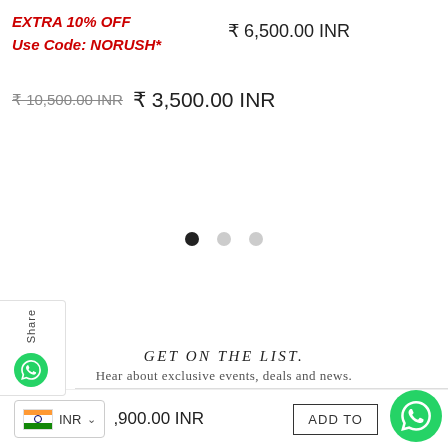EXTRA 10% OFF
Use Code: NORUSH*
₹ 6,500.00 INR
₹ 10,500.00 INR  ₹ 3,500.00 INR
[Figure (other): Carousel dot indicators: one filled black dot and two grey dots]
[Figure (other): Share tab on left side with WhatsApp icon]
GET ON THE LIST.
Hear about exclusive events, deals and news.
Enter Your Email Address
SUBSCRIBE!
INR  ,900.00 INR
ADD TO